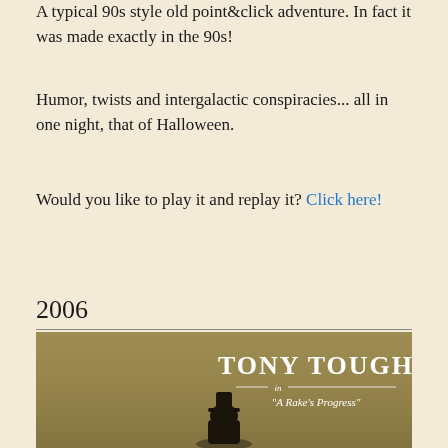A typical 90s style old point&click adventure. In fact it was made exactly in the 90s!
Humor, twists and intergalactic conspiracies... all in one night, that of Halloween.
Would you like to play it and replay it? Click here!
2006
[Figure (photo): Book or game cover showing 'TONY TOUGH in A Rake's Progress' title on a dark golden/olive background with a silhouette figure at the bottom.]